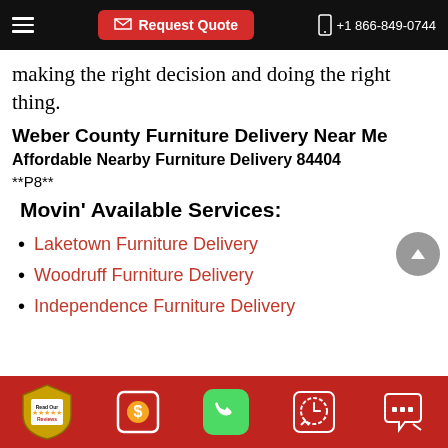Request Quote | +1 866-849-0744
making the right decision and doing the right thing.
Weber County Furniture Delivery Near Me
Affordable Nearby Furniture Delivery 84404
**P8**
Movin’ Available Services:
Laketown Furniture Delivery
Woodruff Furniture Delivery
Independence Furniture Delivery
Read Our Reviews | Request Quote | Call | Schedule | Chat